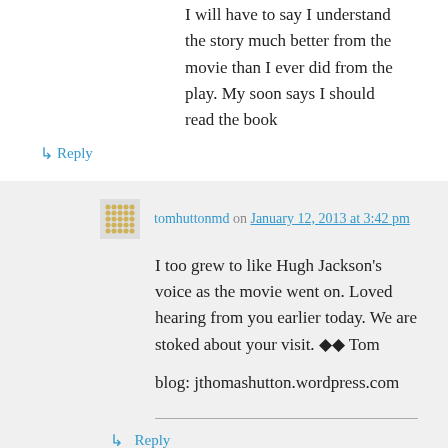I will have to say I understand the story much better from the movie than I ever did from the play. My soon says I should read the book
↳ Reply
tomhuttonmd on January 12, 2013 at 3:42 pm
I too grew to like Hugh Jackson's voice as the movie went on. Loved hearing from you earlier today. We are stoked about your visit. ◆◆ Tom
blog: jthomashutton.wordpress.com
↳ Reply